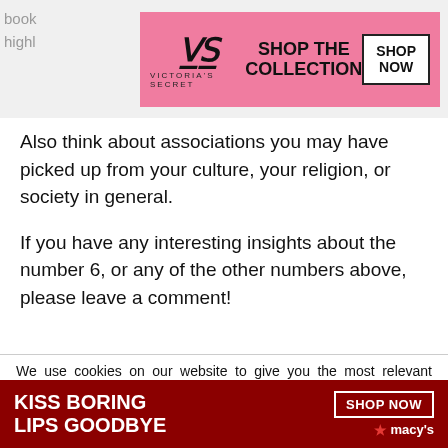[Figure (other): Victoria's Secret advertisement banner showing a model and 'SHOP THE COLLECTION / SHOP NOW' button on pink background]
Also think about associations you may have picked up from your culture, your religion, or society in general.
If you have any interesting insights about the number 6, or any of the other numbers above, please leave a comment!
We use cookies on our website to give you the most relevant experience by remembering your preferences and repeat visits. By clicking “Accept”, you consent to the use of ALL the cookies.
Do not sell my personal information.
[Figure (other): Macy's advertisement banner saying 'KISS BORING LIPS GOODBYE' with SHOP NOW button on dark red background]